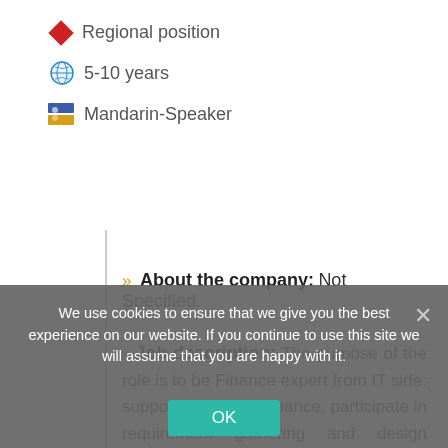Regional position
5-10 years
Mandarin-Speaker
» About the company:  Not Specified.
» Job description:  The purpose of the role is to be Finance expert from IT side: support daily maintenance, participate in requirement gathering and design phase to define business requirements and system blueprint designSupport SAP and FIN application
We use cookies to ensure that we give you the best experience on our website. If you continue to use this site we will assume that you are happy with it.